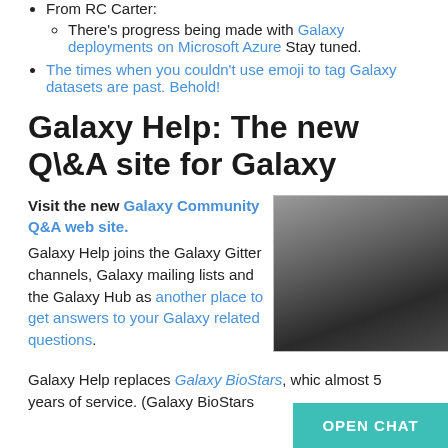From RC Carter:
There's progress being made with Galaxy deployments on Microsoft Azure Stay tuned.
The times when you couldn't use emoji to tag Galaxy datasets are past. Behold!
Galaxy Help: The new Q\&A site for Galaxy
Visit the new Galaxy Community Q&A web site. Galaxy Help joins the Galaxy Gitter channels, Galaxy mailing lists and the Galaxy Hub as another place to get answers to your Galaxy related questions.
[Figure (screenshot): Screenshot of Galaxy Community Q&A website, dark gradient preview image]
Galaxy Help replaces Galaxy BioStars, whic almost 5 years of service. (Galaxy BioStars